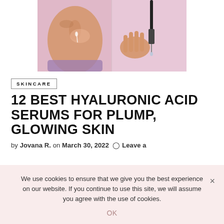[Figure (photo): Woman applying serum to face with dropper, pink background, split composition showing face close-up on left and hand holding dropper on right]
SKINCARE
12 BEST HYALURONIC ACID SERUMS FOR PLUMP, GLOWING SKIN
by Jovana R. on March 30, 2022  Leave a
We use cookies to ensure that we give you the best experience on our website. If you continue to use this site, we will assume you agree with the use of cookies.
OK